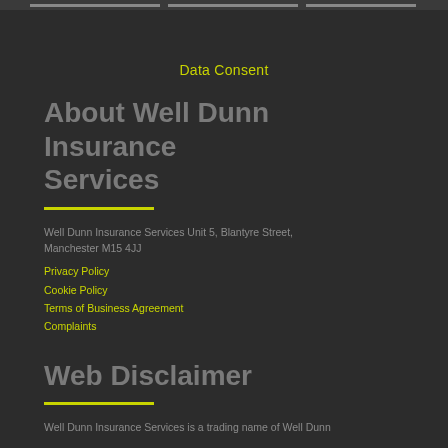Data Consent
About Well Dunn Insurance Services
Well Dunn Insurance Services Unit 5, Blantyre Street, Manchester M15 4JJ
Privacy Policy
Cookie Policy
Terms of Business Agreement
Complaints
Web Disclaimer
Well Dunn Insurance Services is a trading name of Well Dunn